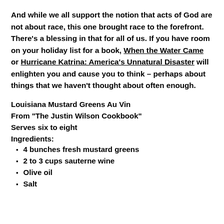And while we all support the notion that acts of God are not about race, this one brought race to the forefront. There's a blessing in that for all of us. If you have room on your holiday list for a book, When the Water Came or Hurricane Katrina: America's Unnatural Disaster will enlighten you and cause you to think – perhaps about things that we haven't thought about often enough.
Louisiana Mustard Greens Au Vin
From "The Justin Wilson Cookbook"
Serves six to eight
Ingredients:
4 bunches fresh mustard greens
2 to 3 cups sauterne wine
Olive oil
Salt